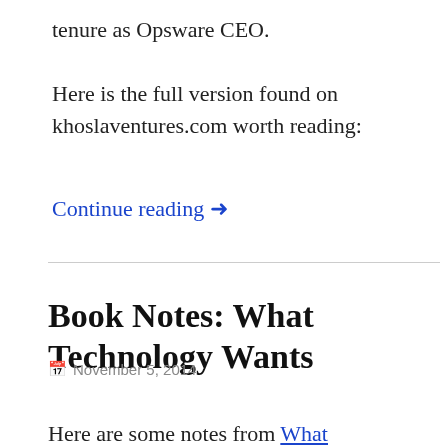tenure as Opsware CEO.
Here is the full version found on khoslaventures.com worth reading:
Continue reading →
Book Notes: What Technology Wants
November 5, 2014
Here are some notes from What Technology Wants by Kevin Kelly: